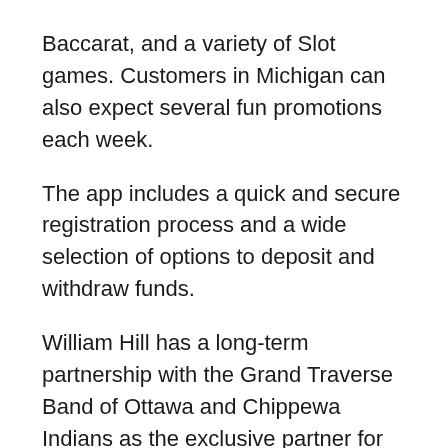Baccarat, and a variety of Slot games. Customers in Michigan can also expect several fun promotions each week.
The app includes a quick and secure registration process and a wide selection of options to deposit and withdraw funds.
William Hill has a long-term partnership with the Grand Traverse Band of Ottawa and Chippewa Indians as the exclusive partner for sports books, along with mobile sports betting and iCasino gaming. In September, William Hill and GTB opened The Onyx Sports Book by William Hill at Turtle Creek Casino & Hotel along with a satellite location at Leelanau Sands Casino in Northern Michigan.
“William Hill is America’s leading sports betting company, which speaks volumes for their